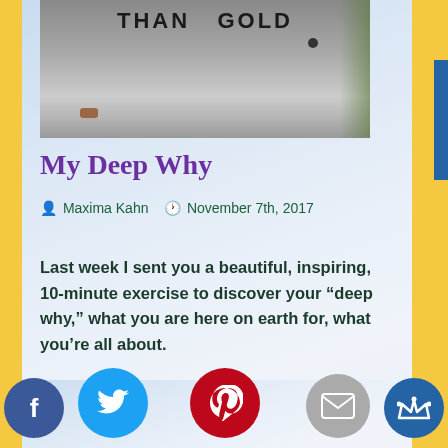[Figure (photo): Graffiti or painted text reading 'THAN GOLD' on a weathered metallic or concrete surface, with greenery visible on the right edge.]
My Deep Why
Maxima Kahn   November 7th, 2017
Last week I sent you a beautiful, inspiring, 10-minute exercise to discover your “deep why,” what you are here on earth for, what you’re all about.
This process is a way to tap your deep heart-knowing of what lights inspire moves y... what matters deeply to your